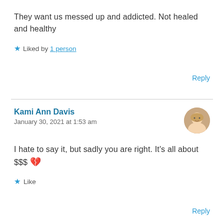They want us messed up and addicted. Not healed and healthy
★ Liked by 1 person
Reply
Kami Ann Davis
January 30, 2021 at 1:53 am
I hate to say it, but sadly you are right. It's all about $$$ 💔
★ Like
Reply